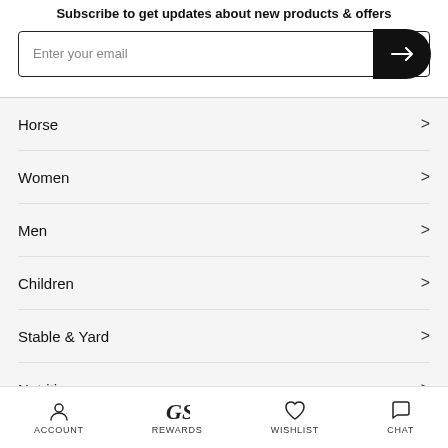Subscribe to get updates about new products & offers
Enter your email
Horse
Women
Men
Children
Stable & Yard
Nutrition
ACCOUNT  REWARDS  WISHLIST  CHAT